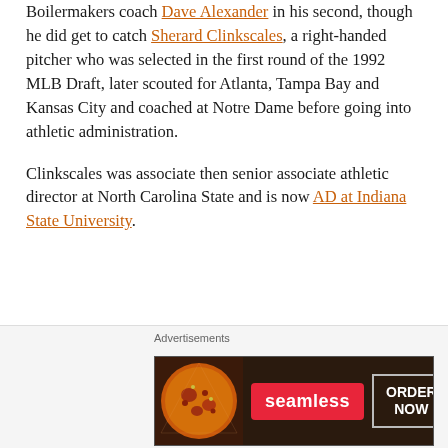Boilermakers coach Dave Alexander in his second, though he did get to catch Sherard Clinkscales, a right-handed pitcher who was selected in the first round of the 1992 MLB Draft, later scouted for Atlanta, Tampa Bay and Kansas City and coached at Notre Dame before going into athletic administration.
Clinkscales was associate then senior associate athletic director at North Carolina State and is now AD at Indiana State University.
Advertisements
The first rule of Startup School?
Advertisements
[Figure (photo): Seamless food delivery advertisement with pizza image, Seamless logo in red, and ORDER NOW button]